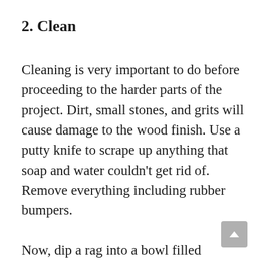2. Clean
Cleaning is very important to do before proceeding to the harder parts of the project. Dirt, small stones, and grits will cause damage to the wood finish. Use a putty knife to scrape up anything that soap and water couldn’t get rid of. Remove everything including rubber bumpers.
Now, dip a rag into a bowl filled